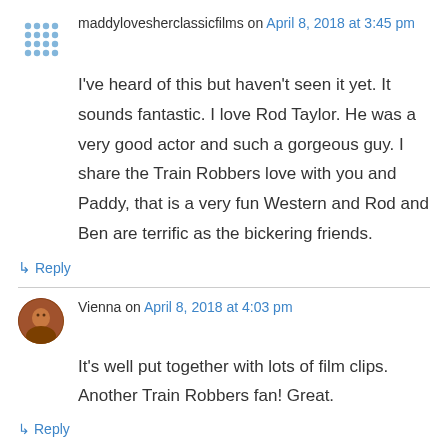maddylovesherclassicfilms on April 8, 2018 at 3:45 pm
I've heard of this but haven't seen it yet. It sounds fantastic. I love Rod Taylor. He was a very good actor and such a gorgeous guy. I share the Train Robbers love with you and Paddy, that is a very fun Western and Rod and Ben are terrific as the bickering friends.
↳ Reply
Vienna on April 8, 2018 at 4:03 pm
It's well put together with lots of film clips. Another Train Robbers fan! Great.
↳ Reply